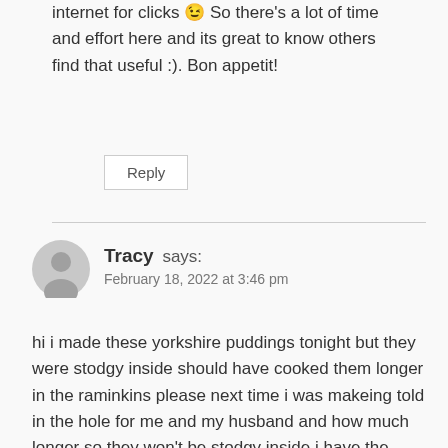internet for clicks 😉 So there's a lot of time and effort here and its great to know others find that useful :). Bon appetit!
Reply
Tracy says:
February 18, 2022 at 3:46 pm
hi i made these yorkshire puddings tonight but they were stodgy inside should have cooked them longer in the raminkins please next time i was makeing told in the hole for me and my husband and how much longer so they won't be stodgy inside i have the large coursori airfryer